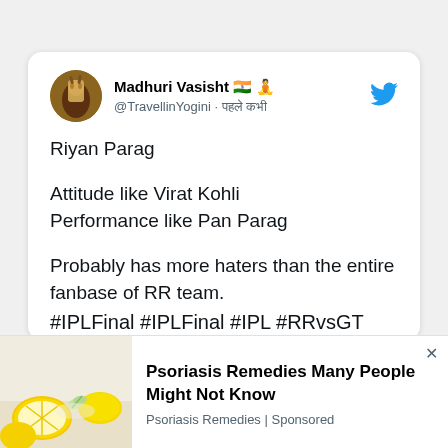[Figure (screenshot): Twitter/X tweet screenshot from user Madhuri Vasisht (@TravellinYogini) with Indian flag and girl emoji, posted with Hindi timestamp. Tweet text: 'Riyan Parag

Attitude like Virat Kohli
Performance like Pan Parag

Probably has more haters than the entire fanbase of RR team.

#IPLFinal #IPLFinal #IPL #RRvsGT']
[Figure (screenshot): Advertisement banner at bottom: 'Psoriasis Remedies Many People Might Not Know' from Psoriasis Remedies | Sponsored, with lemon image on left]